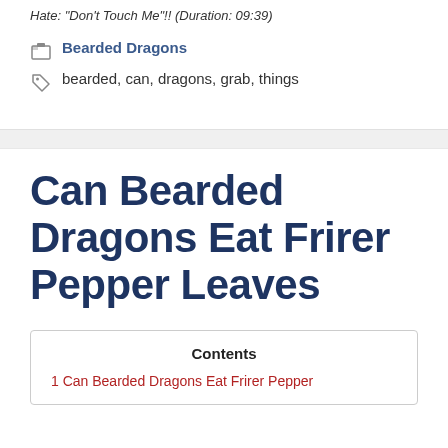Hate: "Don't Touch Me"!! (Duration: 09:39)
Bearded Dragons
bearded, can, dragons, grab, things
Can Bearded Dragons Eat Frirer Pepper Leaves
Contents
1 Can Bearded Dragons Eat Frirer Pepper